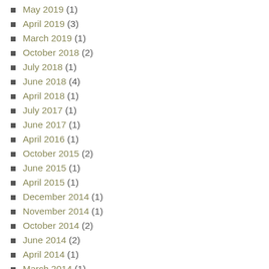May 2019 (1)
April 2019 (3)
March 2019 (1)
October 2018 (2)
July 2018 (1)
June 2018 (4)
April 2018 (1)
July 2017 (1)
June 2017 (1)
April 2016 (1)
October 2015 (2)
June 2015 (1)
April 2015 (1)
December 2014 (1)
November 2014 (1)
October 2014 (2)
June 2014 (2)
April 2014 (1)
March 2014 (1)
November 2013 (1)
October 2013 (2)